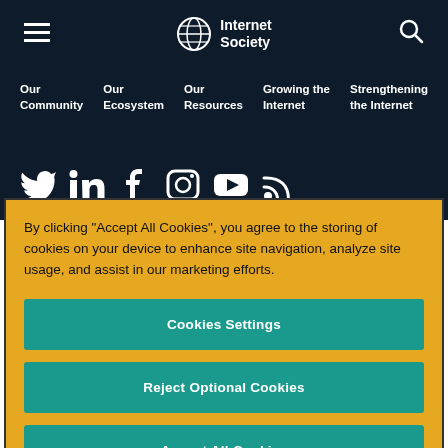Internet Society — Navigation header with hamburger menu, logo, and search icon
Our Community
Our Ecosystem
Our Resources
Growing the Internet
Strengthening the Internet
[Figure (infographic): Social media icons row: Twitter, LinkedIn, Facebook, Instagram, YouTube, RSS]
By clicking “Accept All Cookies”, you agree to the storing of cookies on your device to enhance site navigation, analyze site usage, and assist in our marketing efforts.
Cookies Settings
Reject Optional Cookies
Accept All Cookies